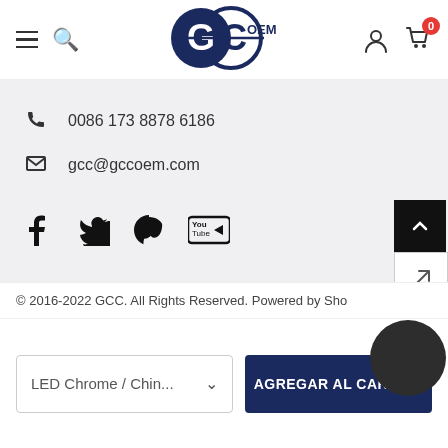[Figure (logo): GC OEM logo — two interlocking circles with letters GC and text OEM]
0086 173 8878 6186
gcc@gccoem.com
[Figure (illustration): Social media icons: Facebook, Twitter, Pinterest, YouTube]
© 2016-2022 GCC. All Rights Reserved. Powered by Sho
LED Chrome / Chin...
AGREGAR AL CARRITO